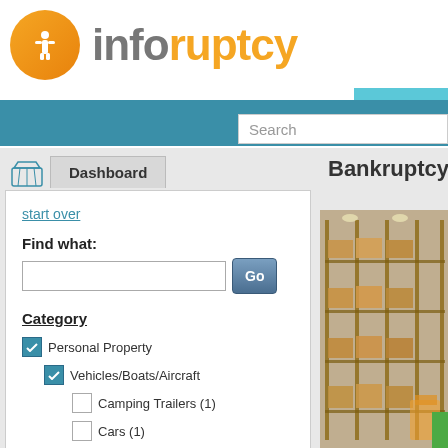[Figure (logo): Inforuptcy logo: orange circle with white 'i' figure icon, followed by 'info' in gray and 'ruptcy' in orange bold text]
ASSETS
Search
Dashboard
start over
Find what:
Go
Category
Personal Property
Vehicles/Boats/Aircraft
Camping Trailers (1)
Cars (1)
▼ Price
Bankruptcy As
[Figure (photo): Warehouse interior with industrial shelving stacked with boxes and pallets, forklifts visible]